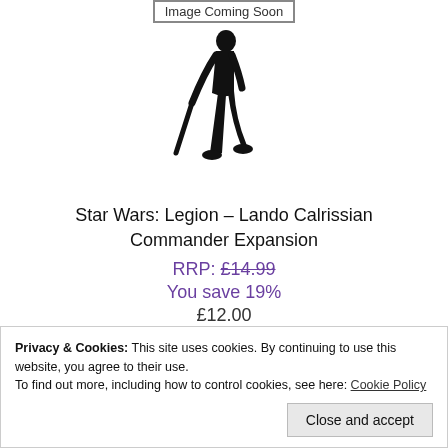[Figure (illustration): Image Coming Soon placeholder box with silhouette of a person (Lando Calrissian) walking with a cane, shown in black silhouette against white background]
Star Wars: Legion – Lando Calrissian Commander Expansion
RRP: £14.99
You save 19%
£12.00
Privacy & Cookies: This site uses cookies. By continuing to use this website, you agree to their use. To find out more, including how to control cookies, see here: Cookie Policy
Close and accept